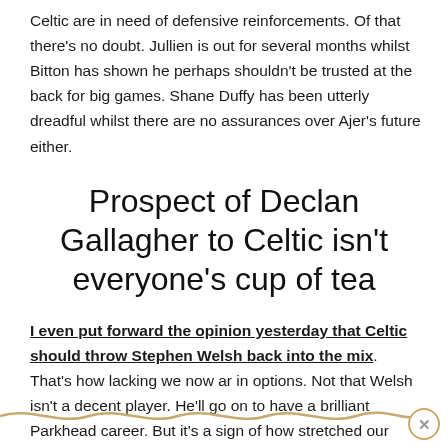Celtic are in need of defensive reinforcements. Of that there's no doubt. Jullien is out for several months whilst Bitton has shown he perhaps shouldn't be trusted at the back for big games. Shane Duffy has been utterly dreadful whilst there are no assurances over Ajer's future either.
Prospect of Declan Gallagher to Celtic isn't everyone's cup of tea
I even put forward the opinion yesterday that Celtic should throw Stephen Welsh back into the mix. That's how lacking we now ar in options. Not that Welsh isn't a decent player. He'll go on to have a brilliant Parkhead career. But it's a sign of how stretched our options are.